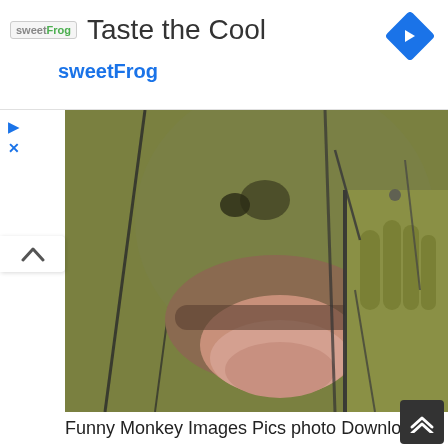[Figure (other): sweetFrog advertisement banner with logo, text 'Taste the Cool', 'sweetFrog' subtitle, and blue diamond navigation arrow icon]
[Figure (photo): Close-up photo of an orangutan or monkey sticking its tongue out through a chain-link fence, with hand visible, greenish-brown coloring]
Funny Monkey Images Pics photo Download
[Figure (photo): Photo of a small grey monkey sitting on ground with colorful clothing/cloth visible, rocky/dirt background]